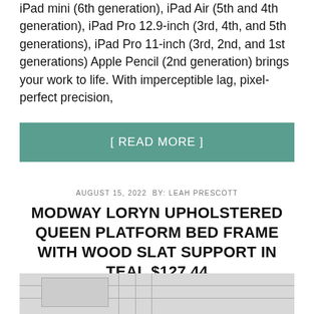iPad mini (6th generation), iPad Air (5th and 4th generation), iPad Pro 12.9-inch (3rd, 4th, and 5th generations), iPad Pro 11-inch (3rd, 2nd, and 1st generations) Apple Pencil (2nd generation) brings your work to life. With imperceptible lag, pixel-perfect precision,
[ READ MORE ]
AUGUST 15, 2022 BY: LEAH PRESCOTT
MODWAY LORYN UPHOLSTERED QUEEN PLATFORM BED FRAME WITH WOOD SLAT SUPPORT IN TEAL $127.44
[Figure (photo): Partial view of a bedroom/furniture product image showing what appears to be a bed frame or headboard in a light gray/teal setting]